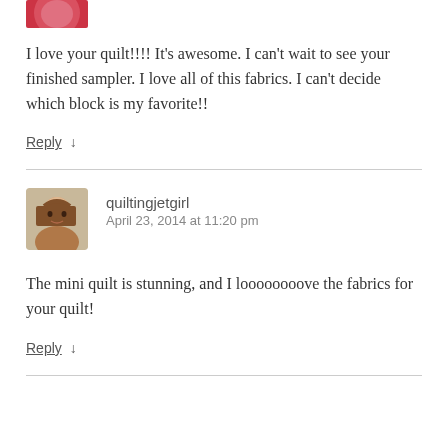[Figure (photo): Partial avatar image cropped at top of page, showing red/warm tones]
I love your quilt!!!! It's awesome. I can't wait to see your finished sampler. I love all of this fabrics. I can't decide which block is my favorite!!
Reply ↓
[Figure (photo): Avatar photo of a woman with long brown hair, smiling]
quiltingjetgirl
April 23, 2014 at 11:20 pm
The mini quilt is stunning, and I loooooooove the fabrics for your quilt!
Reply ↓